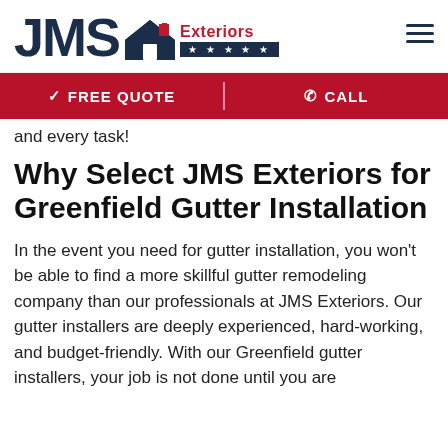[Figure (logo): JMS Exteriors logo with house icon, red 'Exteriors' text, and dark navy star bar]
✓ FREE QUOTE    ✆ CALL
and every task!
Why Select JMS Exteriors for Greenfield Gutter Installation
In the event you need for gutter installation, you won't be able to find a more skillful gutter remodeling company than our professionals at JMS Exteriors. Our gutter installers are deeply experienced, hard-working, and budget-friendly. With our Greenfield gutter installers, your job is not done until you are